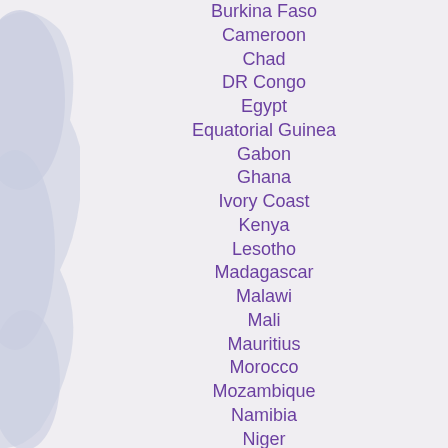[Figure (map): Partial map silhouette of Africa in light blue-grey on the left side of the page]
Burkina Faso
Cameroon
Chad
DR Congo
Egypt
Equatorial Guinea
Gabon
Ghana
Ivory Coast
Kenya
Lesotho
Madagascar
Malawi
Mali
Mauritius
Morocco
Mozambique
Namibia
Niger
Nigeria
Reunion Island
Rwanda
Senegal